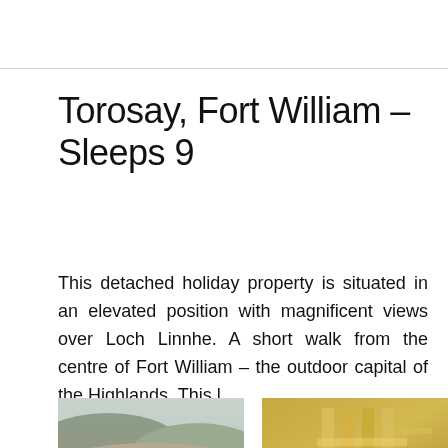Torosay, Fort William - Sleeps 9
This detached holiday property is situated in an elevated position with magnificent views over Loch Linnhe. A short walk from the centre of Fort William – the outdoor capital of the Highlands. This l…
[Figure (photo): Landscape photo showing hills and mountains, muted browns and greens, natural scenery near Fort William]
[Figure (photo): Interior photo showing golden/brass colored fixtures or fittings, appears to be bathroom or kitchen detail]